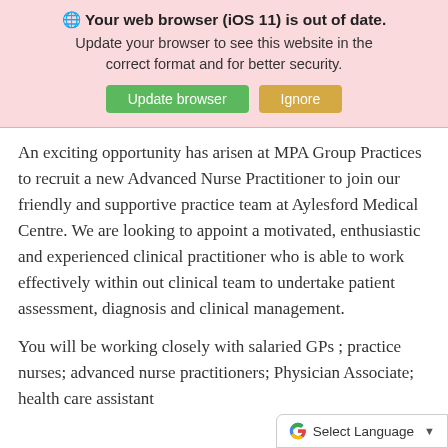🌐 Your web browser (iOS 11) is out of date. Update your browser to see this website in the correct format and for better security. [Update browser] [Ignore]
An exciting opportunity has arisen at MPA Group Practices to recruit a new Advanced Nurse Practitioner to join our friendly and supportive practice team at Aylesford Medical Centre. We are looking to appoint a motivated, enthusiastic and experienced clinical practitioner who is able to work effectively within out clinical team to undertake patient assessment, diagnosis and clinical management.
You will be working closely with salaried GPs ; practice nurses; advanced nurse practitioners; Physician Associate; health care assistant
[Figure (screenshot): Google Translate 'Select Language' widget bar at bottom right corner]